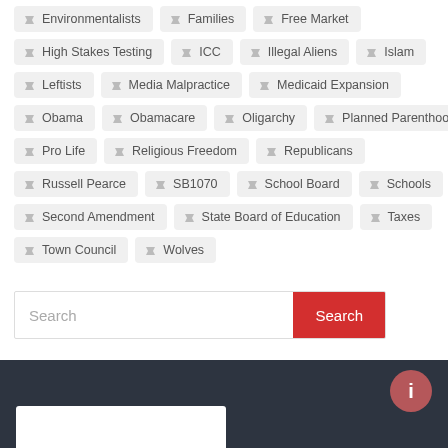Environmentalists
Families
Free Market
High Stakes Testing
ICC
Illegal Aliens
Islam
Leftists
Media Malpractice
Medicaid Expansion
Obama
Obamacare
Oligarchy
Planned Parenthood
Pro Life
Religious Freedom
Republicans
Russell Pearce
SB1070
School Board
Schools
Second Amendment
State Board of Education
Taxes
Town Council
Wolves
Search